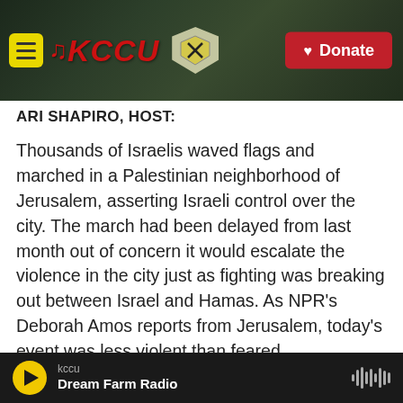[Figure (screenshot): KCCU radio station website header banner with logo, navigation menu button, shield emblem, and red Donate button]
ARI SHAPIRO, HOST:
Thousands of Israelis waved flags and marched in a Palestinian neighborhood of Jerusalem, asserting Israeli control over the city. The march had been delayed from last month out of concern it would escalate the violence in the city just as fighting was breaking out between Israel and Hamas. As NPR's Deborah Amos reports from Jerusalem, today's event was less violent than feared.
(SOUNDBITE OF ARCHIVED RECORDING)
kccu — Dream Farm Radio